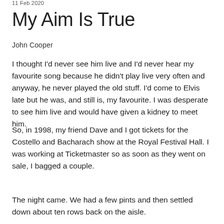11 Feb 2020
My Aim Is True
John Cooper
I thought I'd never see him live and I'd never hear my favourite song because he didn't play live very often and anyway, he never played the old stuff. I'd come to Elvis late but he was, and still is, my favourite. I was desperate to see him live and would have given a kidney to meet him.
So, in 1998, my friend Dave and I got tickets for the Costello and Bacharach show at the Royal Festival Hall. I was working at Ticketmaster so as soon as they went on sale, I bagged a couple.
The night came. We had a few pints and then settled down about ten rows back on the aisle.